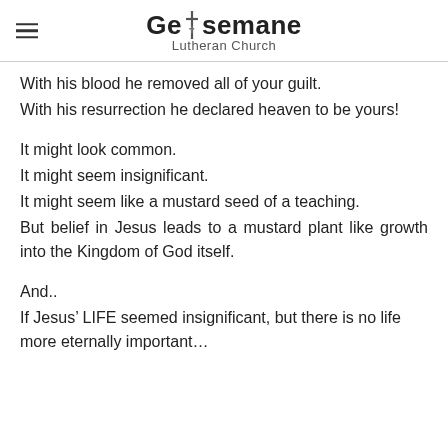Gethsemane Lutheran Church
With his blood he removed all of your guilt.
With his resurrection he declared heaven to be yours!
It might look common.
It might seem insignificant.
It might seem like a mustard seed of a teaching.
But belief in Jesus leads to a mustard plant like growth into the Kingdom of God itself.
And..
If Jesus’ LIFE seemed insignificant, but there is no life more eternally important…